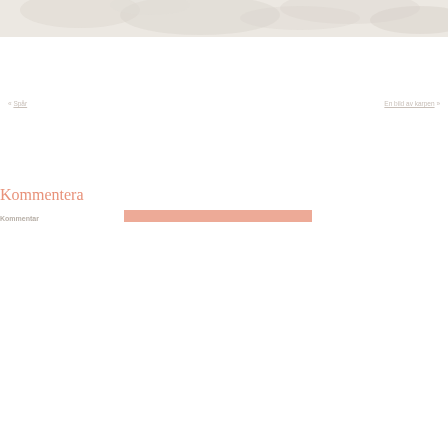[Figure (photo): Faded nature/floral background image header strip at the top of the page]
« Spår
En bild av karpen »
Kommentera
Kommentar
[Figure (other): Salmon/coral colored input text field rectangle]